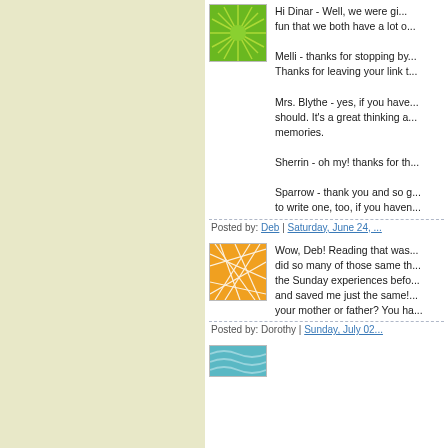[Figure (illustration): Green sunburst avatar icon]
Hi Dinar - Well, we were gi... fun that we both have a lot o...
Melli - thanks for stopping by... Thanks for leaving your link t...
Mrs. Blythe - yes, if you have... should. It's a great thinking a... memories.
Sherrin - oh my! thanks for th...
Sparrow - thank you and so g... to write one, too, if you haver...
Posted by: Deb | Saturday, June 24, ...
[Figure (illustration): Orange geometric/grid pattern avatar icon]
Wow, Deb! Reading that was... did so many of those same th... the Sunday experiences befo... and saved me just the same!... your mother or father? You ha...
Posted by: Dorothy | Sunday, July 02...
[Figure (illustration): Blue wave/stripe avatar icon]